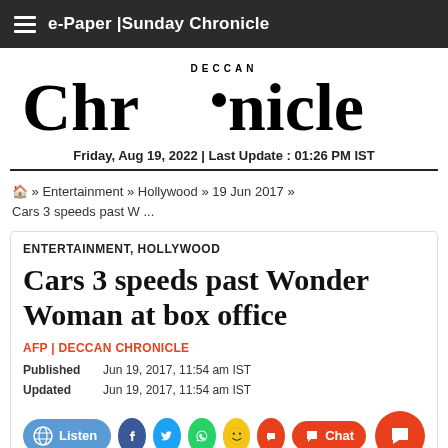e-Paper | Sunday Chronicle
[Figure (logo): Deccan Chronicle newspaper logo — large serif 'Chronicle' with 'DECCAN' above in small caps]
Friday, Aug 19, 2022 | Last Update : 01:26 PM IST
Home » Entertainment » Hollywood » 19 Jun 2017 » Cars 3 speeds past W ...
ENTERTAINMENT, HOLLYWOOD
Cars 3 speeds past Wonder Woman at box office
AFP | DECCAN CHRONICLE
Published    Jun 19, 2017, 11:54 am IST
Updated    Jun 19, 2017, 11:54 am IST